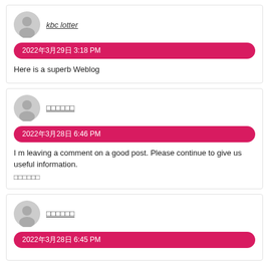kbc lotter
2022年3月29日 3:18 PM
Here is a superb Weblog
□□□□□□
2022年3月28日 6:46 PM
I m leaving a comment on a good post. Please continue to give us useful information.
□□□□□□
□□□□□□
2022年3月28日 6:45 PM